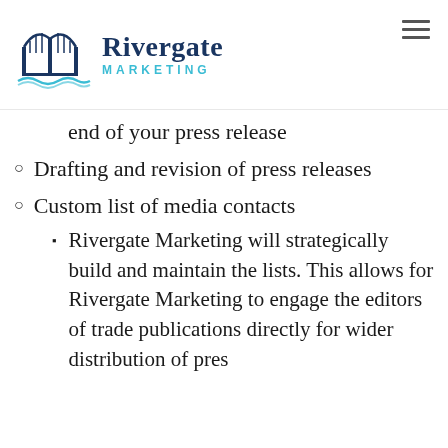[Figure (logo): Rivergate Marketing logo with bridge/gate illustration and teal wave]
end of your press release
Drafting and revision of press releases
Custom list of media contacts
Rivergate Marketing will strategically build and maintain the lists. This allows for Rivergate Marketing to engage the editors of trade publications directly for wider distribution of pres…